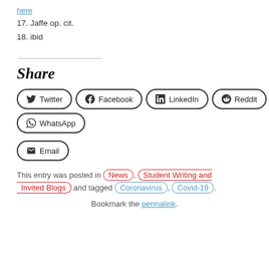17. Jaffe op. cit.
18. ibid
Share
[Figure (other): Social share buttons: Twitter, Facebook, LinkedIn, Reddit, WhatsApp, Email]
This entry was posted in News, Student Writing and Invited Blogs and tagged Coronavirus, Covid-19. Bookmark the permalink.